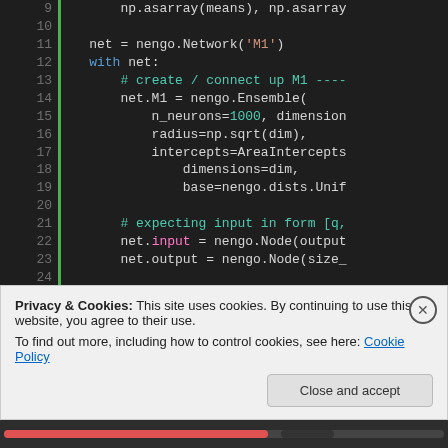Code snippet showing Python/Nengo neural network setup (lines 9-25), with a cookie consent banner overlay at the bottom.
Privacy & Cookies: This site uses cookies. By continuing to use this website, you agree to their use. To find out more, including how to control cookies, see here: Cookie Policy